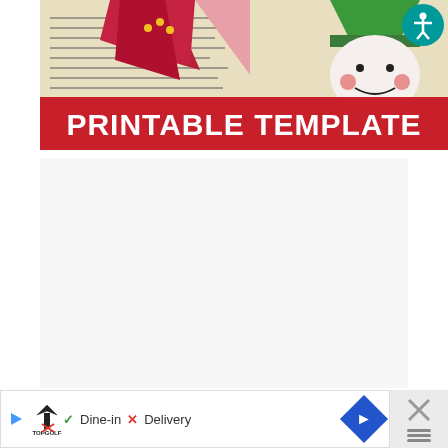[Figure (photo): Christmas corner bookmarks made of paper — a poinsettia flower and a snowman elf — sitting on top of an open book with Spanish text. Red banner below reads PRINTABLE TEMPLATE in white bold text.]
ADVERTISEMENT
[Figure (infographic): Bottom advertisement bar showing Topgolf logo with play and close icons, checkmark Dine-in, X Delivery, blue navigation diamond arrow, and a close X button area.]